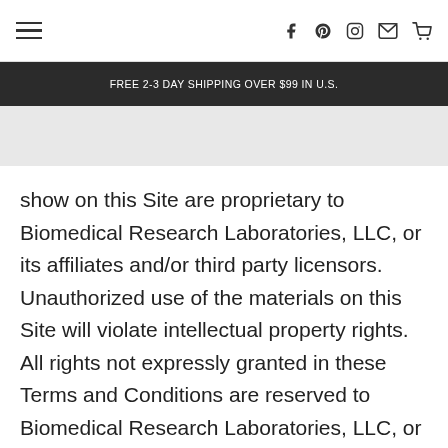≡  f  Pinterest  Instagram  Mail  Cart
FREE 2-3 DAY SHIPPING OVER $99 IN U.S.
show on this Site are proprietary to Biomedical Research Laboratories, LLC, or its affiliates and/or third party licensors. Unauthorized use of the materials on this Site will violate intellectual property rights. All rights not expressly granted in these Terms and Conditions are reserved to Biomedical Research Laboratories, LLC, or its affiliated companies and/or third part licensors, whichever is the owner of any specific material